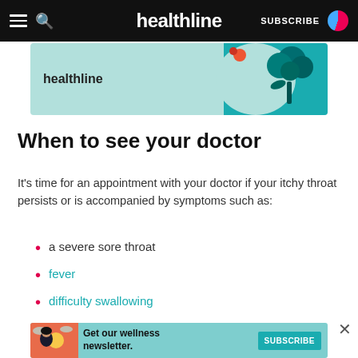healthline  SUBSCRIBE
[Figure (illustration): Healthline banner advertisement with teal background showing broccoli and vegetable illustration with healthline logo]
When to see your doctor
It's time for an appointment with your doctor if your itchy throat persists or is accompanied by symptoms such as:
a severe sore throat
fever
difficulty swallowing
[Figure (illustration): Advertisement banner: Get our wellness newsletter. SUBSCRIBE button. Shows illustration of woman with teal/coral background.]